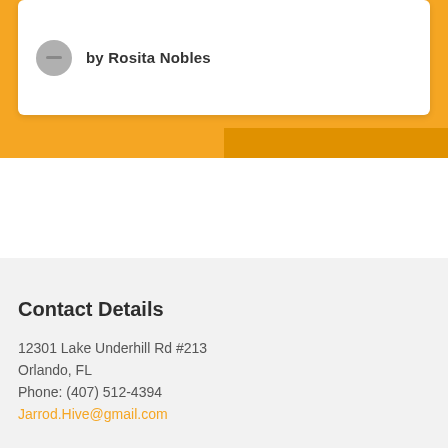[Figure (other): Orange card section with author avatar and name 'by Rosita Nobles']
Contact Details
12301 Lake Underhill Rd #213
Orlando, FL
Phone: (407) 512-4394
Jarrod.Hive@gmail.com